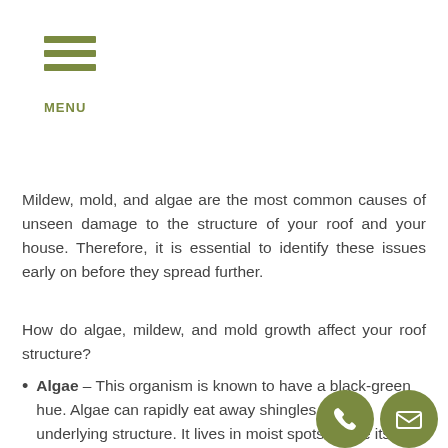MENU
Mildew, mold, and algae are the most common causes of unseen damage to the structure of your roof and your house. Therefore, it is essential to identify these issues early on before they spread further.
How do algae, mildew, and mold growth affect your roof structure?
Algae – This organism is known to have a black-green hue. Algae can rapidly eat away shingles and the underlying structure. It lives in moist spots where its spores nest. As the algae spread, it al…